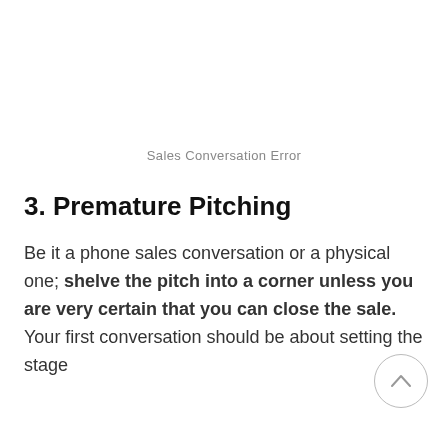Sales Conversation Error
3. Premature Pitching
Be it a phone sales conversation or a physical one; shelve the pitch into a corner unless you are very certain that you can close the sale. Your first conversation should be about setting the stage